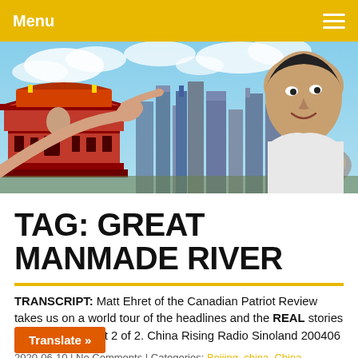Menu
[Figure (photo): Hero banner image showing a man pointing toward a Beijing city skyline composite, with Tiananmen Gate on the left and modern skyscrapers in the background, blue sky with clouds.]
TAG: GREAT MANMADE RIVER
TRANSCRIPT: Matt Ehret of the Canadian Patriot Review takes us on a world tour of the headlines and the REAL stories behind them. Part 2 of 2. China Rising Radio Sinoland 200406
2020-06-10 | No Comments | Categories: Beijing, china, China
China-European relations, China-Russia